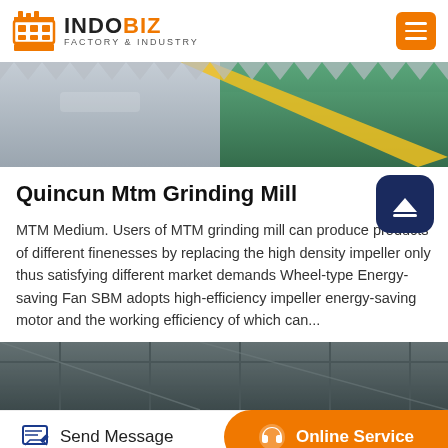INDOBIZ FACTORY & INDUSTRY
[Figure (photo): Industrial factory floor with green and grey epoxy coating and yellow stripe lines, viewed at angle]
Quincun Mtm Grinding Mill
MTM Medium. Users of MTM grinding mill can produce products of different finenesses by replacing the high density impeller only thus satisfying different market demands Wheel-type Energy-saving Fan SBM adopts high-efficiency impeller energy-saving motor and the working efficiency of which can...
[Figure (photo): Industrial building or scaffolding structure, partial view at bottom of page]
Send Message | Online Service